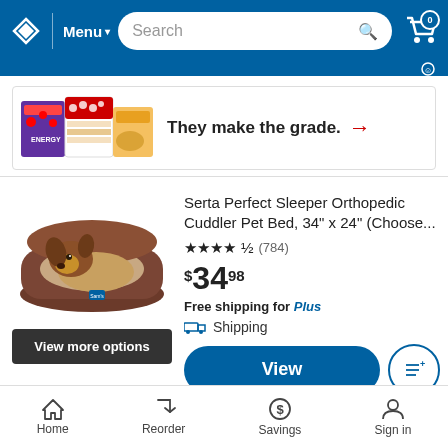Sam's Club mobile app header with logo, Menu, Search bar, and cart icon with 0 items
[Figure (photo): Advertisement banner showing food/snack products with text 'They make the grade.' and red arrow]
Serta Perfect Sleeper Orthopedic Cuddler Pet Bed, 34" x 24" (Choose...
★★★★½ (784)
$34.98
Free shipping for Plus
Shipping
[Figure (photo): Photo of a brown dog resting in a brown orthopedic cuddler pet bed]
View more options
View
Home  Reorder  Savings  Sign in